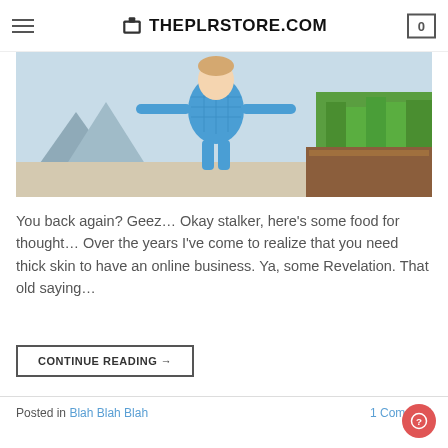THEPLRSTORE.COM
[Figure (photo): Child in blue plaid shirt with arms outstretched like an airplane, outdoors with green plants in background]
You back again? Geez… Okay stalker, here's some food for thought… Over the years I've come to realize that you need thick skin to have an online business. Ya, some Revelation. That old saying…
CONTINUE READING →
Posted in Blah Blah Blah   1 Comment